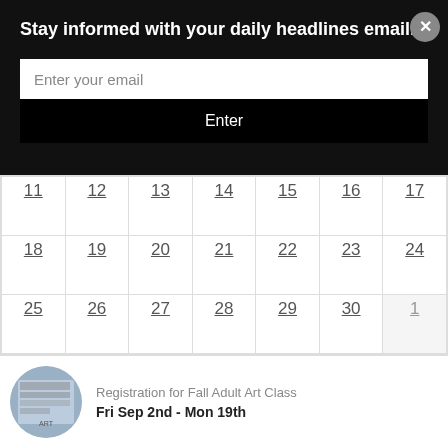Stay informed with your daily headlines email.
Enter your email
Enter
| Sun | Mon | Tue | Wed | Thu | Fri | Sat |
| --- | --- | --- | --- | --- | --- | --- |
| 11 | 12 | 13 | 14 | 15 | 16 | 17 |
| 18 | 19 | 20 | 21 | 22 | 23 | 24 |
| 25 | 26 | 27 | 28 | 29 | 30 | 1 |
Registration for Fall Adult Art Class
Fri Sep 2nd - Mon 19th
Registration for Fall Adult Fitness Classes
Fri Sep 2nd - Mon 19th